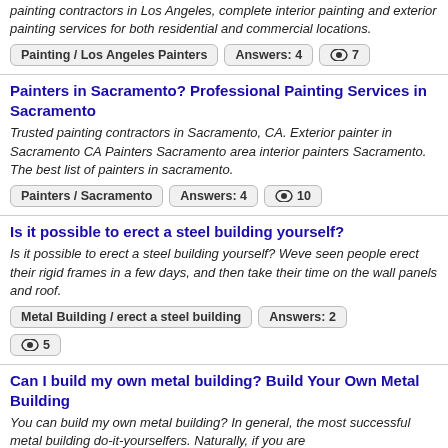painting contractors in Los Angeles, complete interior painting and exterior painting services for both residential and commercial locations.
Painting / Los Angeles Painters | Answers: 4 | 7 views
Painters in Sacramento? Professional Painting Services in Sacramento
Trusted painting contractors in Sacramento, CA. Exterior painter in Sacramento CA Painters Sacramento area interior painters Sacramento. The best list of painters in sacramento.
Painters / Sacramento | Answers: 4 | 10 views
Is it possible to erect a steel building yourself?
Is it possible to erect a steel building yourself? Weve seen people erect their rigid frames in a few days, and then take their time on the wall panels and roof.
Metal Building / erect a steel building | Answers: 2 | 5 views
Can I build my own metal building? Build Your Own Metal Building
You can build my own metal building? In general, the most successful metal building do-it-yourselfers. Naturally, if you are